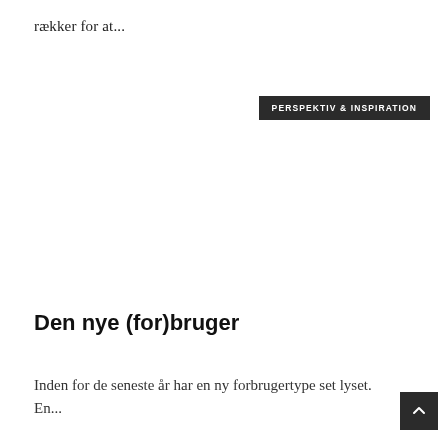rækker for at...
PERSPEKTIV & INSPIRATION
Den nye (for)bruger
Inden for de seneste år har en ny forbrugertype set lyset. En...